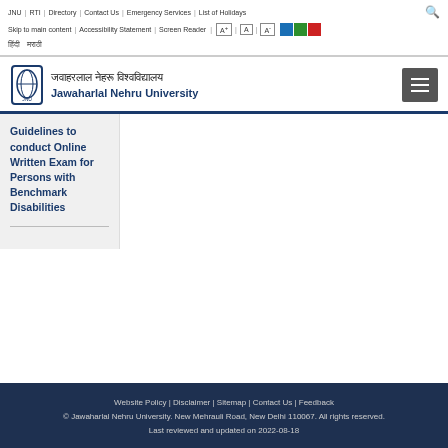JNU | RTI | Directory | Contact Us | Emergency Services | List of Holidays
Skip to main content | Accessibility Statement | Screen Reader | A+ | A | A- | [color buttons]
हिंदी  मराठी
जवाहरलाल नेहरू विश्वविद्यालय
Jawaharlal Nehru University
Guidelines to conduct Online Written Exam for Persons with Benchmark Disabilities
Website Policy | Disclaimer | Sitemap | Contact Us | Feedback
© Jawaharlal Nehru University. New Mehrauli Road, New Delhi 110067. All rights reserved.
Last reviewed and updated on 2022-08-18